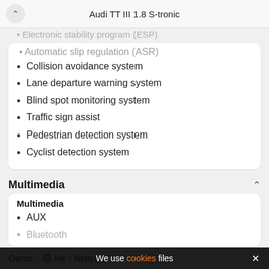Electronic stability program (ESP)
Audi TT III 1.8 S-tronic
Automatic slip regulation (ASR)
Collision avoidance system
Lane departure warning system
Blind spot monitoring system
Traffic sign assist
Pedestrian detection system
Cyclist detection system
Multimedia
Multimedia
AUX
Bluetooth
Owner • He • Netanya
Chat now
Call
We use cookies files